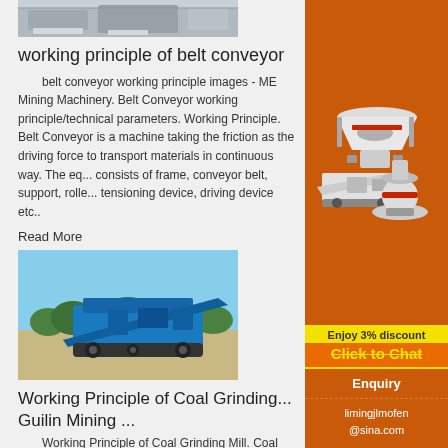[Figure (photo): Industrial conveyor/machinery equipment photo at top]
working principle of belt conveyor
belt conveyor working principle images - ME Mining Machinery. Belt Conveyor working principle/technical parameters. Working Principle. Belt Conveyor is a machine taking the friction as the driving force to transport materials in continuous way. The eq... consists of frame, conveyor belt, support, rolle... tensioning device, driving device etc..
Read More
[Figure (photo): Blue mobile crusher/screening machine on construction site]
Working Principle of Coal Grinding... Guilin Mining ...
Working Principle of Coal Grinding Mill. Coal
[Figure (illustration): Sidebar advertisement with mining machinery images, discount offer, click to chat, enquiry, and email contact]